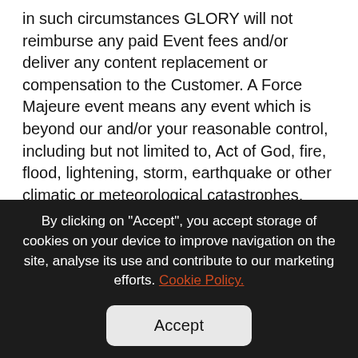in such circumstances GLORY will not reimburse any paid Event fees and/or deliver any content replacement or compensation to the Customer. A Force Majeure event means any event which is beyond our and/or your reasonable control, including but not limited to, Act of God, fire, flood, lightening, storm, earthquake or other climatic or meteorological catastrophes, failure or delay of common carrier or impairment or lack of adequate transportation facilities, accident or repair to machinery, act of sabotage including but not limited to piracy or hacking, embargo, government requirement or action including the imposition of sanctions by any country against any country of
By clicking on "Accept", you accept storage of cookies on your device to improve navigation on the site, analyse its use and contribute to our marketing efforts. Cookie Policy.
Accept